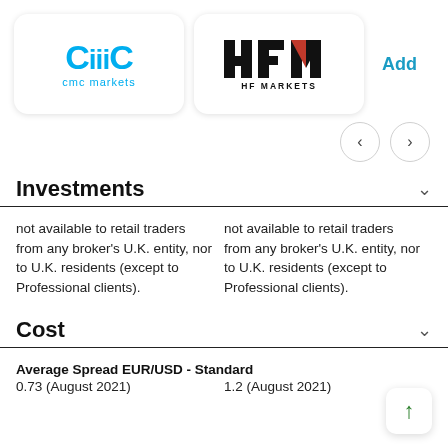[Figure (logo): CMC Markets logo — cyan stylized 'CillC' text above 'cmc markets' in cyan]
[Figure (logo): HFM logo — black HFM letters with red M accent above 'HF MARKETS' in black]
Add
Investments
not available to retail traders from any broker's U.K. entity, nor to U.K. residents (except to Professional clients).
not available to retail traders from any broker's U.K. entity, nor to U.K. residents (except to Professional clients).
Cost
Average Spread EUR/USD - Standard
0.73 (August 2021)
1.2 (August 2021)